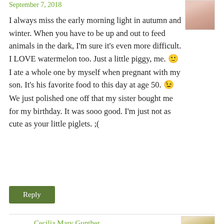September 7, 2018
I always miss the early morning light in autumn and winter. When you have to be up and out to feed animals in the dark, I'm sure it's even more difficult. I LOVE watermelon too. Just a little piggy, me. 🙂 I ate a whole one by myself when pregnant with my son. It's his favorite food to this day at age 50. 😉 We just polished one off that my sister bought me for my birthday. It was sooo good. I'm just not as cute as your little piglets. ;(
Reply
Cecilia Mary Gunther
September 7, 2018
Wow. A whole watermelon AND you were pregnant. That is dedication!!